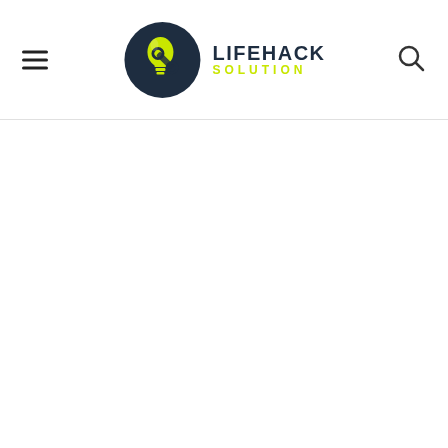Lifehack Solution — website header with logo, hamburger menu, and search icon
[Figure (logo): Lifehack Solution logo: circular dark navy badge with a yellow-green lit lightbulb and wrench icon, beside bold text LIFEHACK in dark color and SOLUTION in yellow-green below]